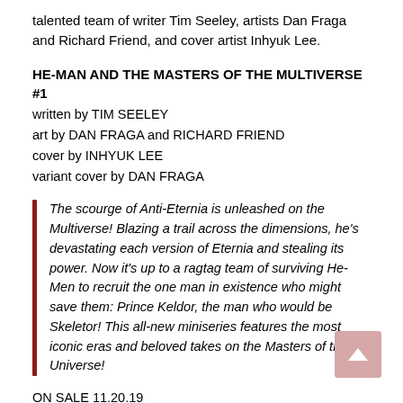talented team of writer Tim Seeley, artists Dan Fraga and Richard Friend, and cover artist Inhyuk Lee.
HE-MAN AND THE MASTERS OF THE MULTIVERSE #1
written by TIM SEELEY
art by DAN FRAGA and RICHARD FRIEND
cover by INHYUK LEE
variant cover by DAN FRAGA
The scourge of Anti-Eternia is unleashed on the Multiverse! Blazing a trail across the dimensions, he's devastating each version of Eternia and stealing its power. Now it's up to a ragtag team of surviving He-Men to recruit the one man in existence who might save them: Prince Keldor, the man who would be Skeletor! This all-new miniseries features the most iconic eras and beloved takes on the Masters of the Universe!
ON SALE 11.20.19